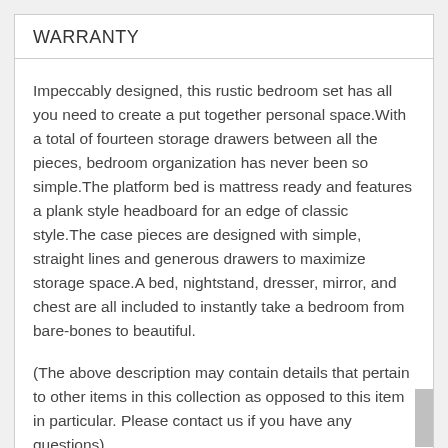WARRANTY
Impeccably designed, this rustic bedroom set has all you need to create a put together personal space.With a total of fourteen storage drawers between all the pieces, bedroom organization has never been so simple.The platform bed is mattress ready and features a plank style headboard for an edge of classic style.The case pieces are designed with simple, straight lines and generous drawers to maximize storage space.A bed, nightstand, dresser, mirror, and chest are all included to instantly take a bedroom from bare-bones to beautiful.
(The above description may contain details that pertain to other items in this collection as opposed to this item in particular. Please contact us if you have any questions)